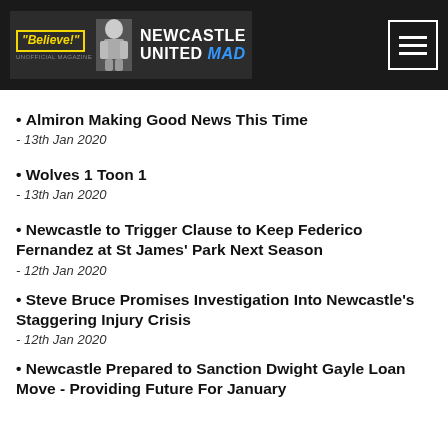Newcastle United Mad
• Almiron Making Good News This Time - 13th Jan 2020
• Wolves 1 Toon 1 - 13th Jan 2020
• Newcastle to Trigger Clause to Keep Federico Fernandez at St James' Park Next Season - 12th Jan 2020
• Steve Bruce Promises Investigation Into Newcastle's Staggering Injury Crisis - 12th Jan 2020
• Newcastle Prepared to Sanction Dwight Gayle Loan Move - Providing Future For January